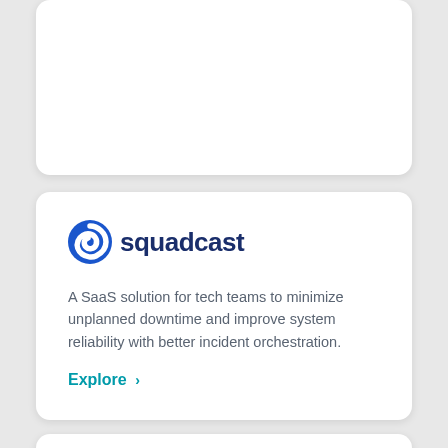[Figure (logo): Squadcast logo with blue circular swirl icon and bold dark blue text 'squadcast']
A SaaS solution for tech teams to minimize unplanned downtime and improve system reliability with better incident orchestration.
Explore ›